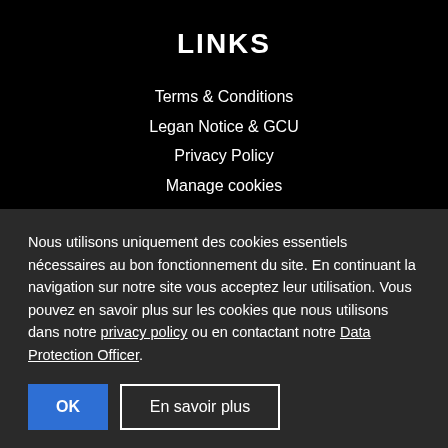LINKS
Terms & Conditions
Legan Notice & GCU
Privacy Policy
Manage cookies
CONTACT US
Nous utilisons uniquement des cookies essentiels nécessaires au bon fonctionnement du site. En continuant la navigation sur notre site vous acceptez leur utilisation. Vous pouvez en savoir plus sur les cookies que nous utilisons dans notre privacy policy ou en contactant notre Data Protection Officer.
OK
En savoir plus